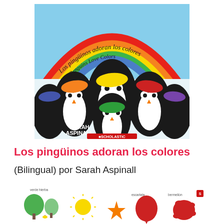[Figure (illustration): Book cover of 'Los pingüinos adoran los colores / Penguins Love Colors' by Sarah Aspinall, published by Scholastic. Shows colorful cartoon penguins wearing berets of different colors (red, orange, yellow, green, blue, purple) arranged in a group, with a rainbow arc behind them. The title appears in curved text along the rainbow. Author name SARAH ASPINALL is printed at the bottom left of the cover, and the Scholastic logo appears at the bottom center.]
Los pingüinos adoran los colores
(Bilingual) por Sarah Aspinall
[Figure (illustration): Interior preview of the book showing colorful illustrations: green trees with labels 'verde hierba', a yellow sun, an orange starfish, a red balloon with label 'escarlata', and a red splat shape with label 'bermellón'.]